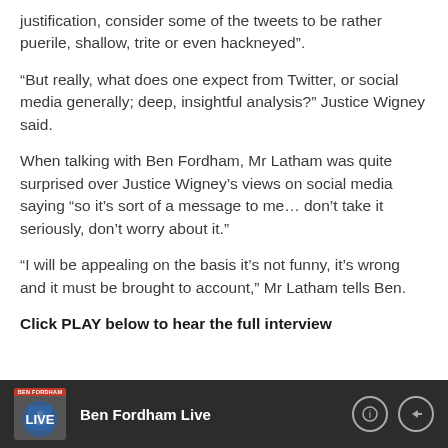justification, consider some of the tweets to be rather puerile, shallow, trite or even hackneyed”.
“But really, what does one expect from Twitter, or social media generally; deep, insightful analysis?” Justice Wigney said.
When talking with Ben Fordham, Mr Latham was quite surprised over Justice Wigney’s views on social media saying “so it’s sort of a message to me… don’t take it seriously, don’t worry about it.”
“I will be appealing on the basis it’s not funny, it’s wrong and it must be brought to account,” Mr Latham tells Ben.
Click PLAY below to hear the full interview
[Figure (other): Audio player widget for Ben Fordham Live with dark background, thumbnail image, info and share icons]